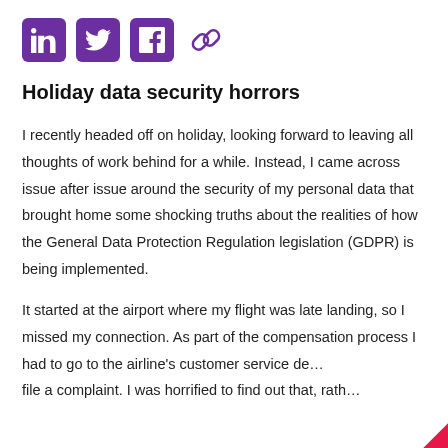[Figure (other): Social media share icons: LinkedIn (purple square), Twitter (purple square), Facebook (purple square), chain/link (purple outline)]
Holiday data security horrors
I recently headed off on holiday, looking forward to leaving all thoughts of work behind for a while. Instead, I came across issue after issue around the security of my personal data that brought home some shocking truths about the realities of how the General Data Protection Regulation legislation (GDPR) is being implemented.
It started at the airport where my flight was late landing, so I missed my connection. As part of the compensation process I had to go to the airline's customer service de… file a complaint. I was horrified to find out that, rath…